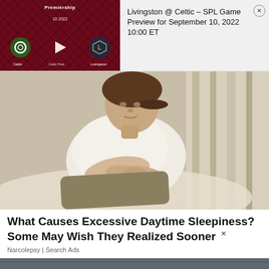[Figure (screenshot): Sports game preview widget showing Premiership match: Celtic vs Livingston at Celtic Park, with team logos and play button on dark red diamond-pattern background]
Livingston @ Celtic – SPL Game Preview for September 10, 2022 10:00 ET
[Figure (photo): Person lying down resting/sleeping on a couch or bed, wearing a white sleeveless shirt and khaki shorts, hands folded on stomach]
What Causes Excessive Daytime Sleepiness? Some May Wish They Realized Sooner
Narcolepsy | Search Ads
[Figure (photo): Partially visible image at bottom of page]